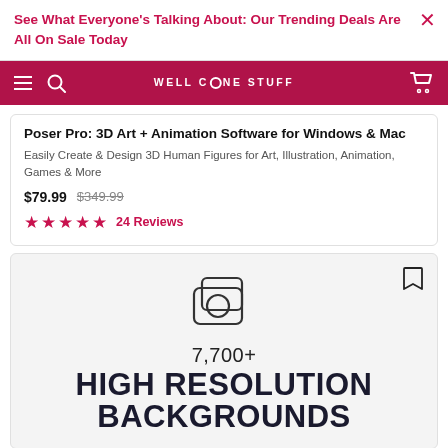See What Everyone's Talking About: Our Trending Deals Are All On Sale Today
WELL DONE STUFF
Poser Pro: 3D Art + Animation Software for Windows & Mac
Easily Create & Design 3D Human Figures for Art, Illustration, Animation, Games & More
$79.99  $349.99
★★★★★  24 Reviews
7,700+
HIGH RESOLUTION BACKGROUNDS